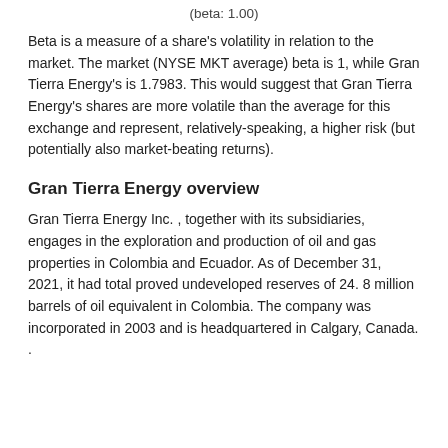(beta: 1.00)
Beta is a measure of a share's volatility in relation to the market. The market (NYSE MKT average) beta is 1, while Gran Tierra Energy's is 1.7983. This would suggest that Gran Tierra Energy's shares are more volatile than the average for this exchange and represent, relatively-speaking, a higher risk (but potentially also market-beating returns).
Gran Tierra Energy overview
Gran Tierra Energy Inc. , together with its subsidiaries, engages in the exploration and production of oil and gas properties in Colombia and Ecuador. As of December 31, 2021, it had total proved undeveloped reserves of 24. 8 million barrels of oil equivalent in Colombia. The company was incorporated in 2003 and is headquartered in Calgary, Canada. .